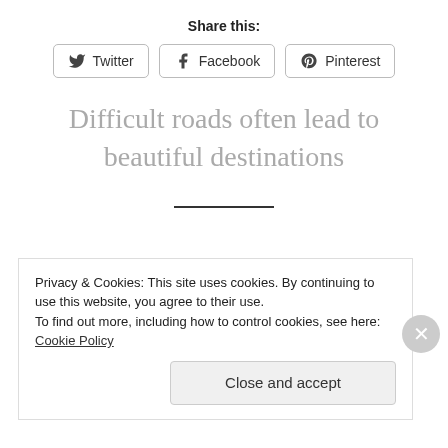Share this:
[Figure (other): Social share buttons: Twitter, Facebook, Pinterest]
Difficult roads often lead to beautiful destinations
(divider line)
Privacy & Cookies: This site uses cookies. By continuing to use this website, you agree to their use. To find out more, including how to control cookies, see here: Cookie Policy
Close and accept